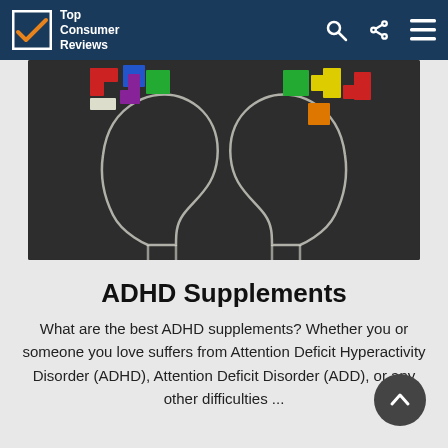Top Consumer Reviews
[Figure (photo): Two chalk-drawn human head silhouettes on a blackboard with colorful puzzle pieces (red, blue, green, purple, yellow, orange) spilling out from the tops of their heads, symbolizing ADHD and cognitive differences.]
ADHD Supplements
What are the best ADHD supplements? Whether you or someone you love suffers from Attention Deficit Hyperactivity Disorder (ADHD), Attention Deficit Disorder (ADD), or any other difficulties ...